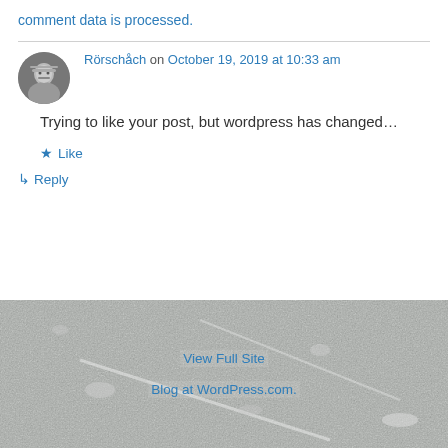comment data is processed.
Rörschåch on October 19, 2019 at 10:33 am
Trying to like your post, but wordpress has changed...
★ Like
↳ Reply
[Figure (photo): Greyscale textured stone/concrete background used as footer background image]
View Full Site
Blog at WordPress.com.